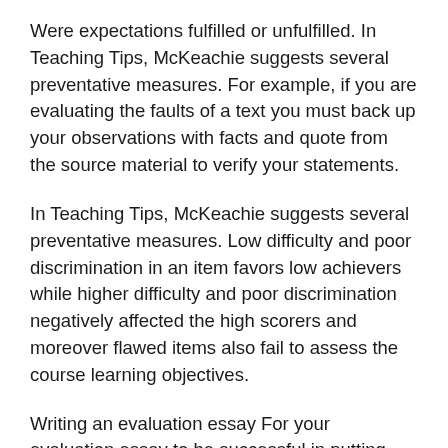Were expectations fulfilled or unfulfilled. In Teaching Tips, McKeachie suggests several preventative measures. For example, if you are evaluating the faults of a text you must back up your observations with facts and quote from the source material to verify your statements.
In Teaching Tips, McKeachie suggests several preventative measures. Low difficulty and poor discrimination in an item favors low achievers while higher difficulty and poor discrimination negatively affected the high scorers and moreover flawed items also fail to assess the course learning objectives.
Writing an evaluation essay For your evaluation essay to be successful in putting your point across you need a convincing argument. A few suggestions for the writing assignment: Furthermore, it presents the point-of-view you are taking and hereafter each paragraph should work